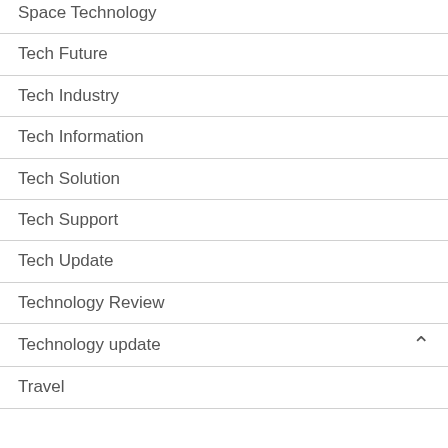Space Technology
Tech Future
Tech Industry
Tech Information
Tech Solution
Tech Support
Tech Update
Technology Review
Technology update
Travel